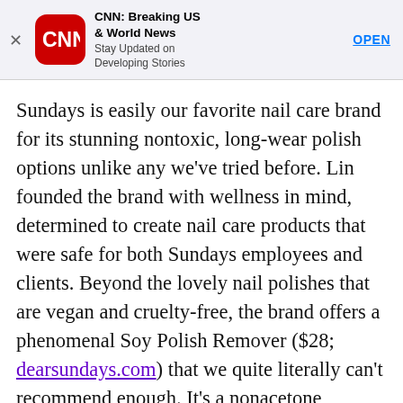[Figure (screenshot): CNN app advertisement banner with CNN logo icon, title 'CNN: Breaking US & World News', subtitle 'Stay Updated on Developing Stories', and an OPEN button. An X close button is on the left.]
Sundays is easily our favorite nail care brand for its stunning nontoxic, long-wear polish options unlike any we've tried before. Lin founded the brand with wellness in mind, determined to create nail care products that were safe for both Sundays employees and clients. Beyond the lovely nail polishes that are vegan and cruelty-free, the brand offers a phenomenal Soy Polish Remover ($28; dearsundays.com) that we quite literally can't recommend enough. It's a nonacetone remover packed with vitamins and grapefruit essential oil that doesn't leave your hands dry and dull.